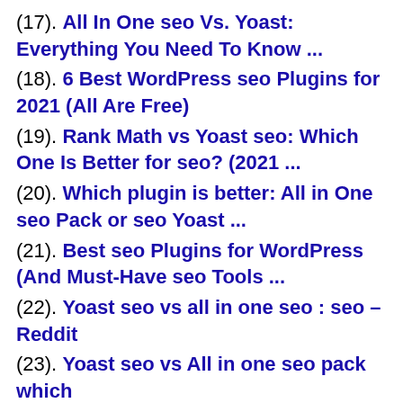(17). All In One seo Vs. Yoast: Everything You Need To Know ...
(18). 6 Best WordPress seo Plugins for 2021 (All Are Free)
(19). Rank Math vs Yoast seo: Which One Is Better for seo? (2021 ...
(20). Which plugin is better: All in One seo Pack or seo Yoast ...
(21). Best seo Plugins for WordPress (And Must-Have seo Tools ...
(22). Yoast seo vs all in one seo : seo – Reddit
(23). Yoast seo vs All in one seo pack which